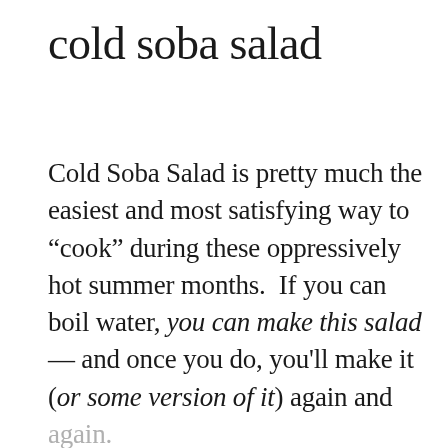cold soba salad
Cold Soba Salad is pretty much the easiest and most satisfying way to “cook” during these oppressively hot summer months.  If you can boil water, you can make this salad — and once you do, you'll make it (or some version of it) again and again.